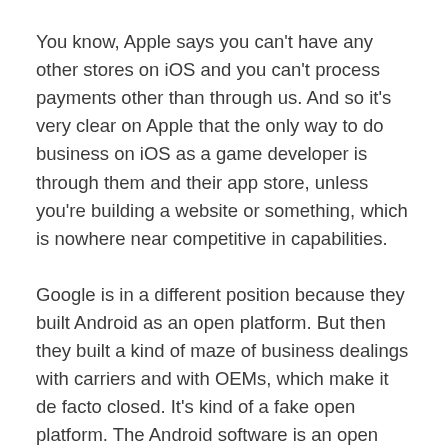You know, Apple says you can't have any other stores on iOS and you can't process payments other than through us. And so it's very clear on Apple that the only way to do business on iOS as a game developer is through them and their app store, unless you're building a website or something, which is nowhere near competitive in capabilities.
Google is in a different position because they built Android as an open platform. But then they built a kind of maze of business dealings with carriers and with OEMs, which make it de facto closed. It's kind of a fake open platform. The Android software is an open platform. The Google services suite that everybody has to take in order to use any of Google's services. They're all forced bundle it together in one massive package. You have to take it or leave it. It really locks down the platform so that you can't